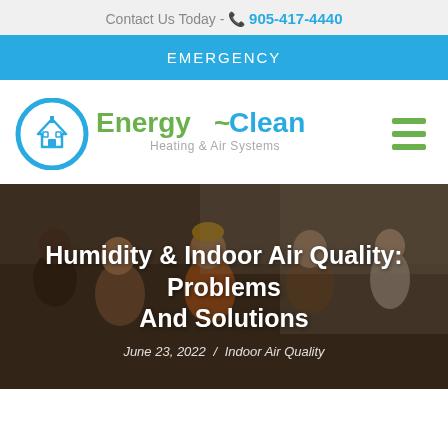Contact Us Today - 905-417-4440
EMERGENCY
[Figure (logo): Energy-Clean Heating & Air Systems logo with blue circular house icon and green/blue text]
Humidity & Indoor Air Quality: Problems And Solutions
June 23, 2022 / Indoor Air Quality